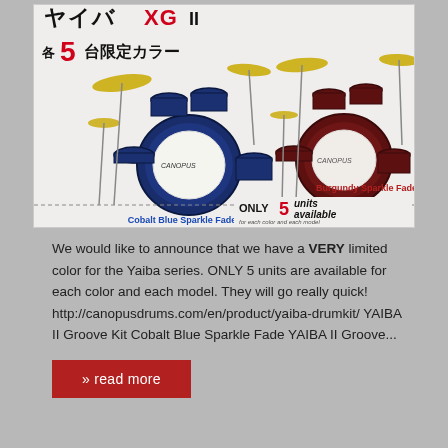[Figure (photo): Advertisement image for CANOPUS YAIBA II drum kits showing two drum sets — one in Cobalt Blue Sparkle Fade (left) and one in Burgundy Sparkle Fade (right). Japanese text reads '各5台限定カラー' (Limited color, 5 units each). Text overlays say 'Cobalt Blue Sparkle Fade', 'Burgundy Sparkle Fade', 'ONLY 5 units available', and 'for each color and each model'.]
We would like to announce that we have a VERY limited color for the Yaiba series. ONLY 5 units are available for each color and each model. They will go really quick! http://canopusdrums.com/en/product/yaiba-drumkit/ YAIBA II Groove Kit Cobalt Blue Sparkle Fade YAIBA II Groove...
» read more